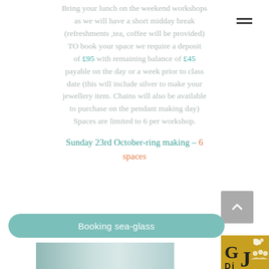Bring your lunch on the weekend workshops as we will have a short midday break (refreshments ,tea, coffee will be provided) TO book your space we require a deposit of £95 with remaining balance of £45 payable on the day or a week prior to class date (this will include silver to make your jewellery item. Chains will also be available to purchase on the pendant making day) Spaces are limited to 6 per workshop.
Sunday 23rd October-ring making – 6 spaces
[Figure (screenshot): A 'Booking sea-glass' button bar in teal/green colour with white text, a grey scroll-to-top button, and a partial view of jewellery photos at the bottom with a gold logo box in the corner.]